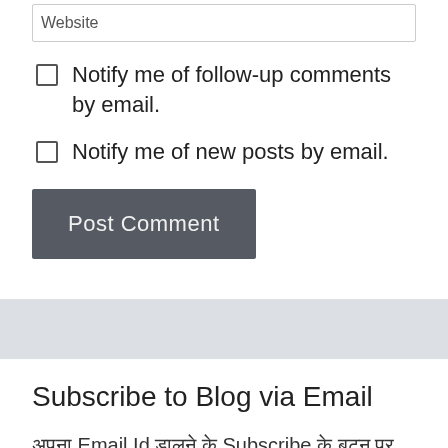Website (input field)
Notify me of follow-up comments by email.
Notify me of new posts by email.
Post Comment
Subscribe to Blog via Email
अपना Email Id डालने के Subscribe के बटन पर click करके इस blog को subscribe करे